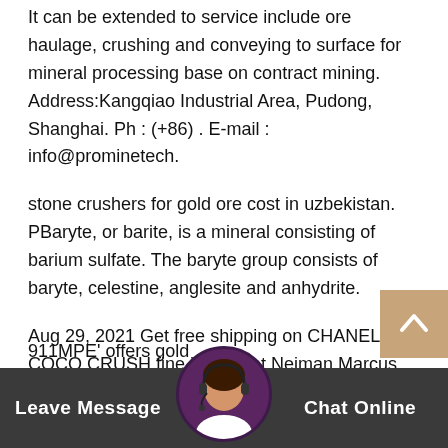It can be extended to service include ore haulage, crushing and conveying to surface for mineral processing base on contract mining. Address:Kangqiao Industrial Area, Pudong, Shanghai. Ph : (+86) . E-mail : info@prominetech.
stone crushers for gold ore cost in uzbekistan. PBaryte, or barite, is a mineral consisting of barium sulfate. The baryte group consists of baryte, celestine, anglesite and anhydrite.
Aug 29, 2021 Get free shipping on CHANEL COCO CRUSH fine jewelry at Neiman Marcus. Buy rings, bracelets, pendant necklaces & more.:::911MPE has small gold mining equipment for sale and more specifically mineral processing equipment.Our equipment is best used in small scale extractive metallurgy operations operated by small miners or hobbyist prospectors and mining fana
911MPE' offers gold
[Figure (other): Back to top button with upward chevron arrow on tan/brown background]
[Figure (photo): Chat avatar showing a woman with headset, circular portrait]
Leave Message   Chat Online